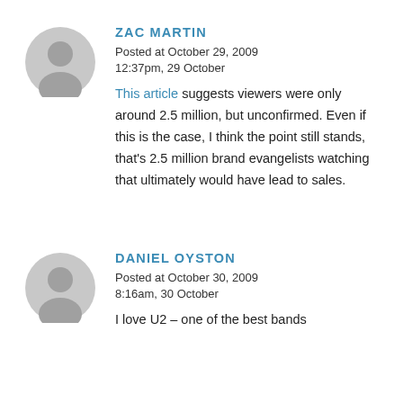[Figure (illustration): Gray circular avatar placeholder icon for Zac Martin]
ZAC MARTIN
Posted at October 29, 2009
12:37pm, 29 October
This article suggests viewers were only around 2.5 million, but unconfirmed. Even if this is the case, I think the point still stands, that's 2.5 million brand evangelists watching that ultimately would have lead to sales.
[Figure (illustration): Gray circular avatar placeholder icon for Daniel Oyston]
DANIEL OYSTON
Posted at October 30, 2009
8:16am, 30 October
I love U2 – one of the best bands